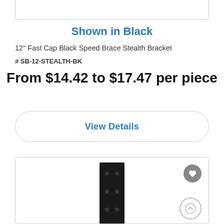[Figure (other): Top portion of a product image box, white background with light gray border]
Shown in Black
12" Fast Cap Black Speed Brace Stealth Bracket
# SB-12-STEALTH-BK
From $14.42 to $17.47 per piece
View Details
[Figure (photo): Product photo of a black metal bracket (stealth bracket) shown vertically, with multiple pre-drilled holes. A heart/favorite button appears in the top-right corner and an up-arrow scroll button in the bottom-right corner of the product card.]